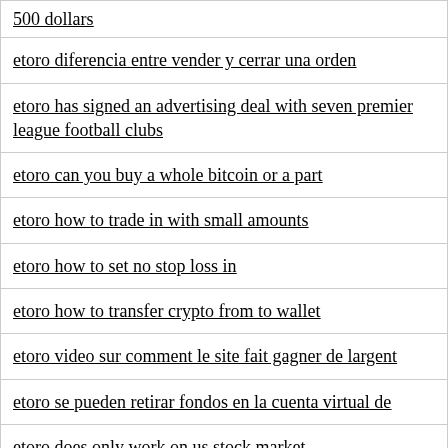500 dollars
etoro diferencia entre vender y cerrar una orden
etoro has signed an advertising deal with seven premier league football clubs
etoro can you buy a whole bitcoin or a part
etoro how to trade in with small amounts
etoro how to set no stop loss in
etoro how to transfer crypto from to wallet
etoro video sur comment le site fait gagner de largent
etoro se pueden retirar fondos en la cuenta virtual de
etoro does only work on us stock market